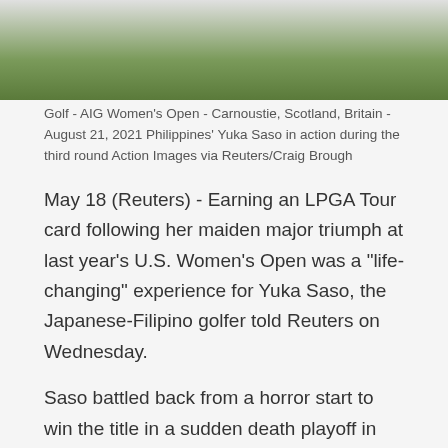[Figure (photo): Partial view of golf course grass strip at top of page]
Golf - AIG Women's Open - Carnoustie, Scotland, Britain - August 21, 2021 Philippines' Yuka Saso in action during the third round Action Images via Reuters/Craig Brough
May 18 (Reuters) - Earning an LPGA Tour card following her maiden major triumph at last year's U.S. Women's Open was a "life-changing" experience for Yuka Saso, the Japanese-Filipino golfer told Reuters on Wednesday.
Saso battled back from a horror start to win the title in a sudden death playoff in San Francisco last June, earning a five-year Tour card and announcing herself as a new force in women's golf, which is largely dominated by South Koreans.